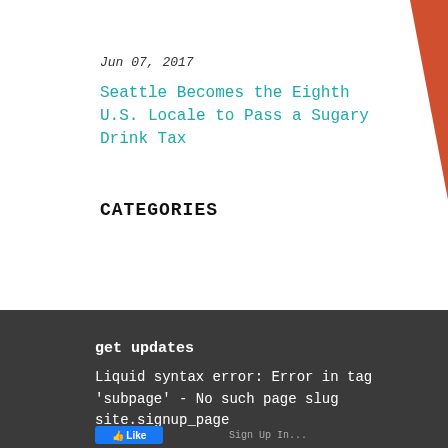Jun 07, 2017
Seattle Becomes the Eighth U.S. Locale to Pass a Sugary Drink Tax
CATEGORIES
get updates
Liquid syntax error: Error in tag 'subpage' - No such page slug site.signup_page